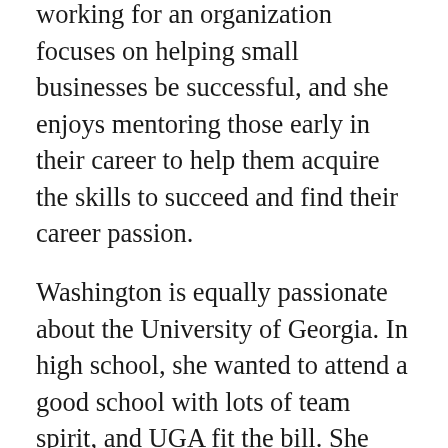working for an organization focuses on helping small businesses be successful, and she enjoys mentoring those early in their career to help them acquire the skills to succeed and find their career passion.
Washington is equally passionate about the University of Georgia. In high school, she wanted to attend a good school with lots of team spirit, and UGA fit the bill. She still gets chills when she heads to Athens because it feels like coming home; she met some of her closest friends at UGA, and she stays in touch with former professors. She graduated in 2007 with a fashion merchandising degree from the College of Family and Consumer Sciences and